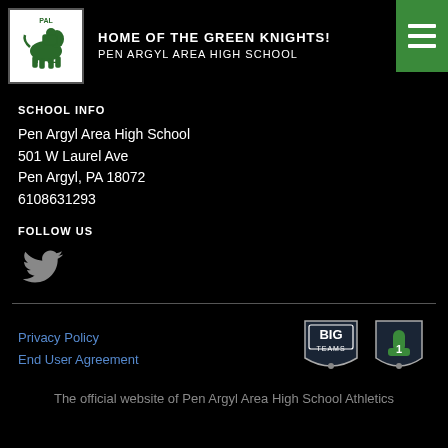[Figure (logo): Pen Argyl Area High School green knight mascot logo with horse and rider]
HOME OF THE GREEN KNIGHTS!
PEN ARGYL AREA HIGH SCHOOL
SCHOOL INFO
Pen Argyl Area High School
501 W Laurel Ave
Pen Argyl, PA 18072
6108631293
FOLLOW US
[Figure (logo): Twitter bird icon in grey]
Privacy Policy
End User Agreement
[Figure (logo): BigTeams logo shield badge]
[Figure (logo): Number one finger shield badge logo]
The official website of Pen Argyl Area High School Athletics